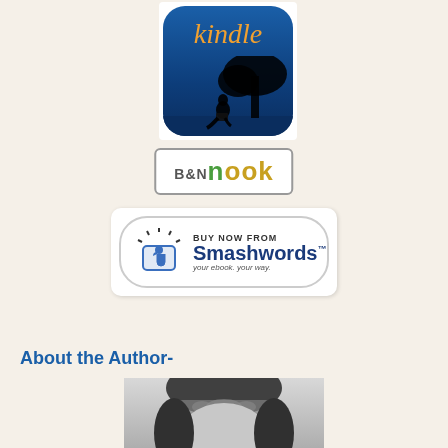[Figure (logo): Amazon Kindle logo - dark blue background with orange italic 'kindle' text and silhouette of person reading under tree]
[Figure (logo): Barnes & Noble Nook logo - white rectangle with border showing 'B&N nook' text]
[Figure (logo): Smashwords Buy Now button - white rounded rectangle with icon and 'BUY NOW FROM Smashwords your ebook. your way.' text]
About the Author-
[Figure (photo): Black and white photo of a woman wearing a decorative headband, partial view]